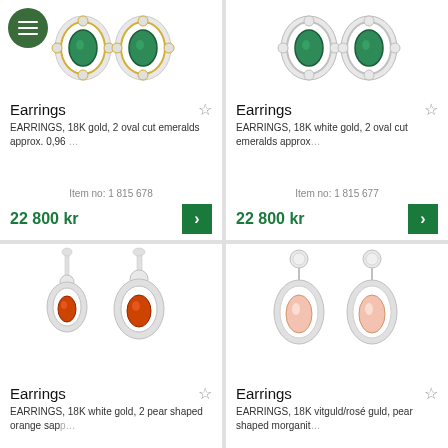[Figure (photo): Two emerald and diamond earrings in yellow gold setting, top view]
Earrings
EARRINGS, 18K gold, 2 oval cut emeralds approx. 0,96 ...
Item no: 1 815 678
22 800 kr
[Figure (photo): Two emerald and diamond earrings in white gold setting, top view]
Earrings
EARRINGS, 18K white gold, 2 oval cut emeralds approx ...
Item no: 1 815 677
22 800 kr
[Figure (photo): Two drop earrings with orange sapphires and diamonds in white gold]
Earrings
EARRINGS, 18K white gold, 2 pear shaped orange sapp...
[Figure (photo): Two drop earrings with morganite and diamonds in rose/white gold]
Earrings
EARRINGS, 18K vitguld/rosé guld, pear shaped morganit...